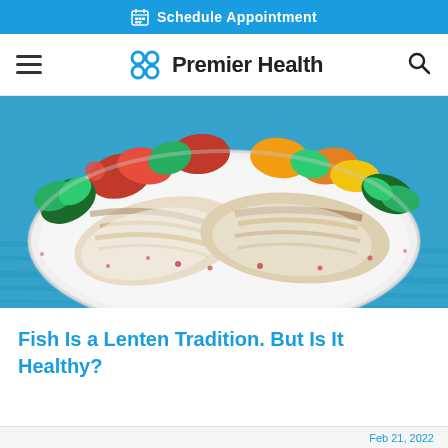Schedule Appointment
Premier Health
[Figure (photo): Grilled white fish fillets on a white plate with colorful roasted bell peppers (red, yellow, green, orange) and fresh parsley, on a blue wooden table background.]
Fish Is a Lenten Tradition. But Is It Healthy?
Feb 21, 2022